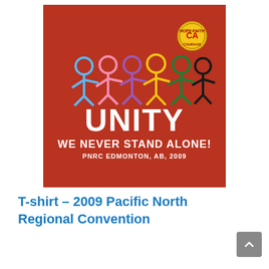[Figure (photo): A red t-shirt with colorful stick figures holding hands, the word UNITY in large white letters, and text WE NEVER STAND ALONE! PNRC EDMONTON, AB, 2009. A circular Cocaine Anonymous logo badge is visible in the upper right corner of the shirt.]
T-shirt – 2009 Pacific North Regional Convention